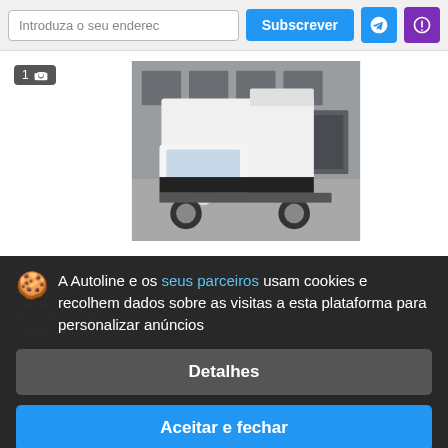Introduza o seu endereço | Subscrever
[Figure (photo): White VW Crafter box truck (Luton van) parked in front of a warehouse/industrial building]
1 [camera icon]
VG... [listing title partially visible]
€ 20.160
Camião b...
Ano: 2018 • Quilometragem: 263.531 km
Polónia, Gorzów
A Autoline e os seus parceiros usam cookies e recolhem dados sobre as visitas a esta plataforma para personalizar anúncios
Detalhes
Aceitar e fechar